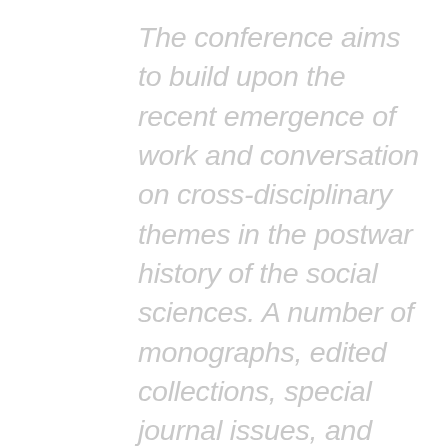The conference aims to build upon the recent emergence of work and conversation on cross-disciplinary themes in the postwar history of the social sciences. A number of monographs, edited collections, special journal issues, and gatherings at the École normale supérieure de Cachan, Duke University, the London School of Economics, New York University, the University of Toronto and